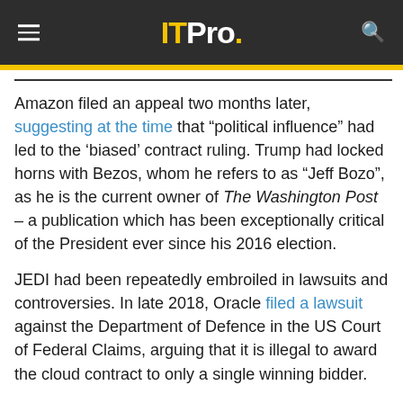ITPro.
Amazon filed an appeal two months later, suggesting at the time that “political influence” had led to the ‘biased’ contract ruling. Trump had locked horns with Bezos, whom he refers to as “Jeff Bozo”, as he is the current owner of The Washington Post – a publication which has been exceptionally critical of the President ever since his 2016 election.
JEDI had been repeatedly embroiled in lawsuits and controversies. In late 2018, Oracle filed a lawsuit against the Department of Defence in the US Court of Federal Claims, arguing that it is illegal to award the cloud contract to only a single winning bidder.